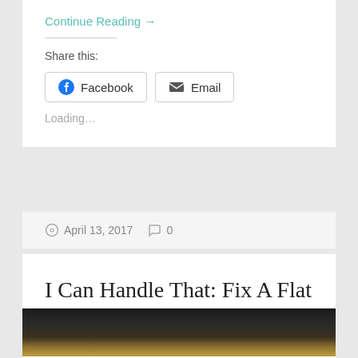Continue Reading →
Share this:
Facebook  Email
Loading...
April 13, 2017   0
I Can Handle That: Fix A Flat Workshop! in Oakland
[Figure (photo): Workshop photo showing bicycle repair equipment and tools]